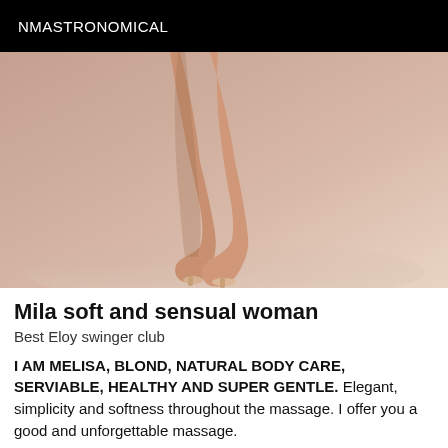NMASTRONOMICAL
[Figure (photo): Close-up photo of a woman's legs wearing high heels, standing against a beige/nude background]
Mila soft and sensual woman
Best Eloy swinger club
I AM MELISA, BLOND, NATURAL BODY CARE, SERVIABLE, HEALTHY AND SUPER GENTLE. Elegant, simplicity and softness throughout the massage. I offer you a good and unforgettable massage.